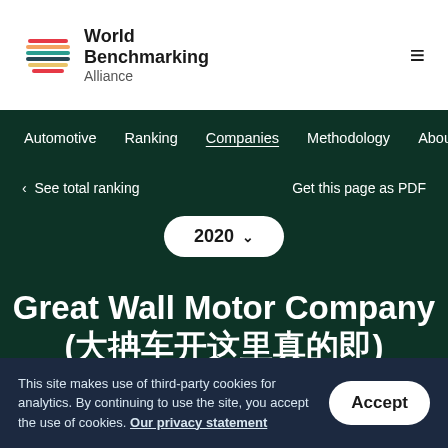World Benchmarking Alliance
Automotive | Ranking | Companies | Methodology | About
< See total ranking   Get this page as PDF
2020 ∨
Great Wall Motor Company (长城汽车股份有限公司)
Known for Havel, WEY, ORA
This site makes use of third-party cookies for analytics. By continuing to use the site, you accept the use of cookies. Our privacy statement